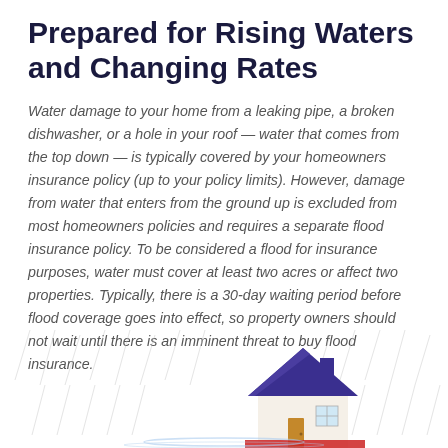Prepared for Rising Waters and Changing Rates
Water damage to your home from a leaking pipe, a broken dishwasher, or a hole in your roof — water that comes from the top down — is typically covered by your homeowners insurance policy (up to your policy limits). However, damage from water that enters from the ground up is excluded from most homeowners policies and requires a separate flood insurance policy. To be considered a flood for insurance purposes, water must cover at least two acres or affect two properties. Typically, there is a 30-day waiting period before flood coverage goes into effect, so property owners should not wait until there is an imminent threat to buy flood insurance.
[Figure (illustration): Illustration of a house with a purple/dark blue roof in rain, partially submerged or with water around its base, with rain streaks in the background]